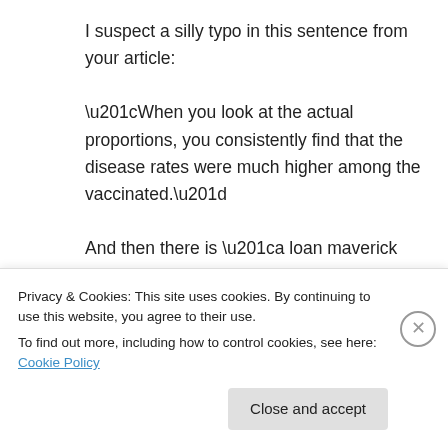I suspect a silly typo in this sentence from your article:
“When you look at the actual proportions, you consistently find that the disease rates were much higher among the vaccinated.”
And then there is “a loan maverick operating outside of the norms of science”. Is this someone who lends money to pseudo-scientists?
★ Liked by 1 person
Privacy & Cookies: This site uses cookies. By continuing to use this website, you agree to their use.
To find out more, including how to control cookies, see here: Cookie Policy